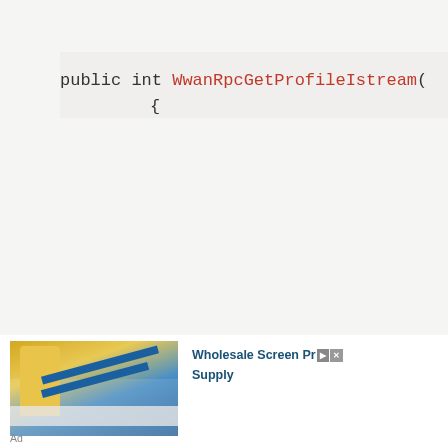[Figure (screenshot): Code screenshot showing a C# method WwanRpcGetProfileIstream with _Marshal_Helper, WriteContextHandle, WriteTerminatedString, WriteEnum16, _Unmarshal_Helper, ReadInt32, ReadReferent calls and return statement.]
Wholesale Screen Printing Supply
Ad